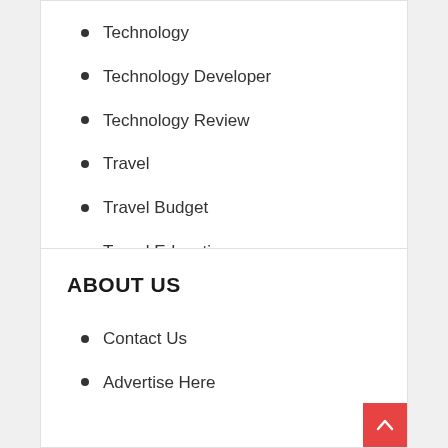Technology
Technology Developer
Technology Review
Travel
Travel Budget
Travel Education
ABOUT US
Contact Us
Advertise Here